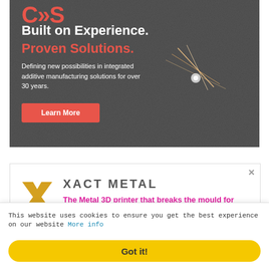[Figure (advertisement): CDS advertisement banner showing a dark metal/laser sintering background with sparks. Text reads: 'Built on Experience. Proven Solutions. Defining new possibilities in integrated additive manufacturing solutions for over 30 years.' with a red Learn More button. CDS logo visible at top left.]
[Figure (advertisement): Xact Metal advertisement. Logo is a gold X chevron shape. Company name XACT METAL in grey caps. Tagline in magenta: 'The Metal 3D printer that breaks the mould for performance and price!' Bottom shows a photo of a person working. Close X button top right.]
This website uses cookies to ensure you get the best experience on our website More info
Got it!